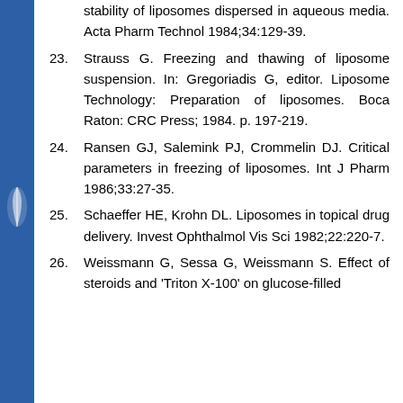stability of liposomes dispersed in aqueous media. Acta Pharm Technol 1984;34:129-39.
23. Strauss G. Freezing and thawing of liposome suspension. In: Gregoriadis G, editor. Liposome Technology: Preparation of liposomes. Boca Raton: CRC Press; 1984. p. 197-219.
24. Ransen GJ, Salemink PJ, Crommelin DJ. Critical parameters in freezing of liposomes. Int J Pharm 1986;33:27-35.
25. Schaeffer HE, Krohn DL. Liposomes in topical drug delivery. Invest Ophthalmol Vis Sci 1982;22:220-7.
26. Weissmann G, Sessa G, Weissmann S. Effect of steroids and 'Triton X-100' on glucose-filled